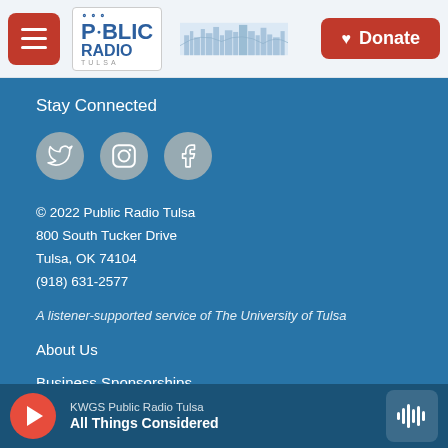[Figure (screenshot): Public Radio Tulsa website header with menu button, logo, skyline illustration, and Donate button]
Stay Connected
[Figure (infographic): Three social media icon circles: Twitter, Instagram, Facebook]
© 2022 Public Radio Tulsa
800 South Tucker Drive
Tulsa, OK 74104
(918) 631-2577
A listener-supported service of The University of Tulsa
About Us
Business Sponsorships
KWGS Public Radio Tulsa — All Things Considered